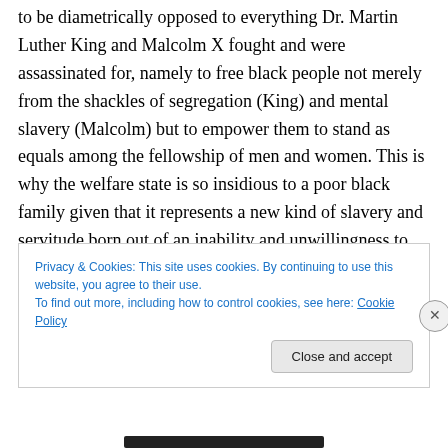to be diametrically opposed to everything Dr. Martin Luther King and Malcolm X fought and were assassinated for, namely to free black people not merely from the shackles of segregation (King) and mental slavery (Malcolm) but to empower them to stand as equals among the fellowship of men and women. This is why the welfare state is so insidious to a poor black family given that it represents a new kind of slavery and servitude born out of an inability and unwillingness to raise family through gainful employment while at the same time keeping themselves
Privacy & Cookies: This site uses cookies. By continuing to use this website, you agree to their use.
To find out more, including how to control cookies, see here: Cookie Policy
Close and accept